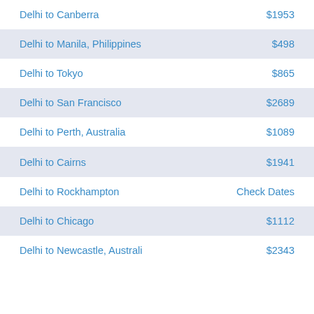Delhi to Canberra — $1953
Delhi to Manila, Philippines — $498
Delhi to Tokyo — $865
Delhi to San Francisco — $2689
Delhi to Perth, Australia — $1089
Delhi to Cairns — $1941
Delhi to Rockhampton — Check Dates
Delhi to Chicago — $1112
Delhi to Newcastle, Australia — $2343